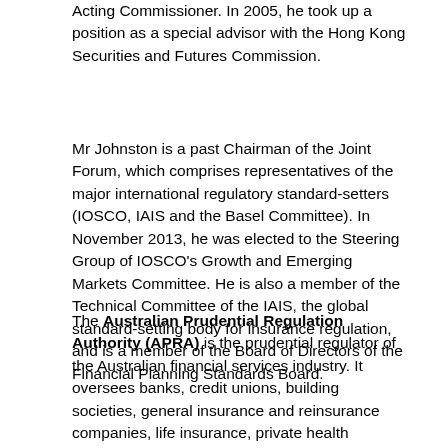Acting Commissioner. In 2005, he took up a position as a special advisor with the Hong Kong Securities and Futures Commission.
Mr Johnston is a past Chairman of the Joint Forum, which comprises representatives of the major international regulatory standard-setters (IOSCO, IAIS and the Basel Committee). In November 2013, he was elected to the Steering Group of IOSCO's Growth and Emerging Markets Committee. He is also a member of the Technical Committee of the IAIS, the global standard-setting body for insurance regulation, and is a member of the Board of Directors of the Financial Planning Standards Board.
The Australian Prudential Regulation Authority (APRA) is the prudential regulator of the Australian financial services industry. It oversees banks, credit unions, building societies, general insurance and reinsurance companies, life insurance, private health insurance, friendly societies, and most of the superannuation industry. APRA is funded largely by the industries that it supervises. It was established on 1 July 1998. APRA currently supervises institutions holding $4.9 trillion in